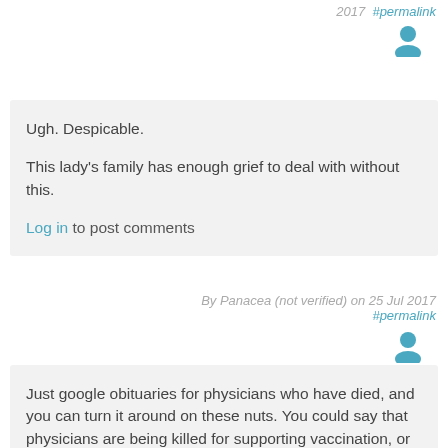2017 #permalink
[Figure (illustration): User avatar icon (person silhouette, blue/teal color)]
Ugh. Despicable.

This lady's family has enough grief to deal with without this.

Log in to post comments
By Panacea (not verified) on 25 Jul 2017 #permalink
[Figure (illustration): User avatar icon (person silhouette, blue/teal color)]
Just google obituaries for physicians who have died, and you can turn it around on these nuts. You could say that physicians are being killed for supporting vaccination, or some other ridiculous thing like that.

Also, the word "decimation" keeps being